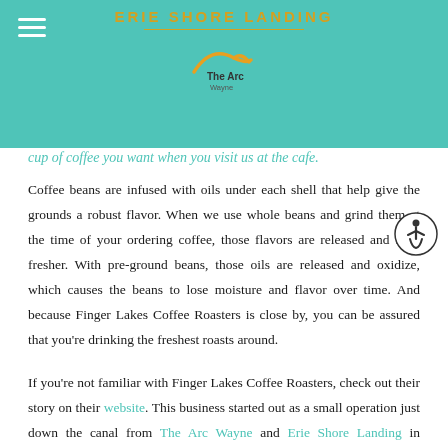ERIE SHORE LANDING
[Figure (logo): The Arc Wayne logo with orange swoosh]
cup of coffee you want when you visit us at the cafe.
Coffee beans are infused with oils under each shell that help give the grounds a robust flavor. When we use whole beans and grind them at the time of your ordering coffee, those flavors are released and taste fresher. With pre-ground beans, those oils are released and oxidize, which causes the beans to lose moisture and flavor over time. And because Finger Lakes Coffee Roasters is close by, you can be assured that you're drinking the freshest roasts around.
If you're not familiar with Finger Lakes Coffee Roasters, check out their story on their website. This business started out as a small operation just down the canal from The Arc Wayne and Erie Shore Landing in Bushnell's Basin, NY. Since it's 1996 opening, Finger Lakes Coffee